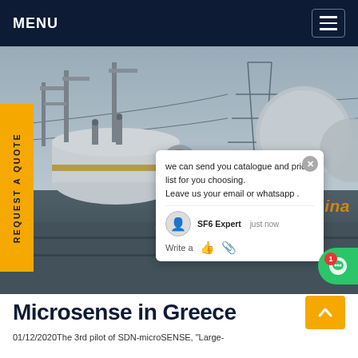MENU
[Figure (photo): Industrial electrical substation scene with workers in blue coveralls working on large cylindrical SF6 gas equipment. Power transmission towers and cables visible in background. SF6China watermark in orange at bottom right.]
REQUEST A QUOTE
we can send you catalogue and price list for you choosing.
Leave us your email or whatsapp .
SF6 Expert   just now
Write a
Microsense in Greece
01/12/2020The 3rd pilot of SDN-microSENSE, "Large-